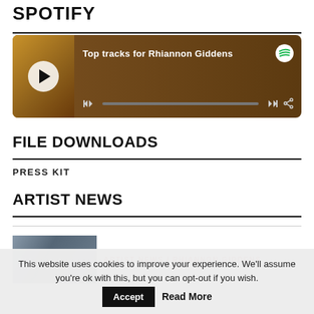SPOTIFY
[Figure (screenshot): Spotify player widget showing 'Top tracks for Rhiannon Giddens' with album art, play button, progress bar, skip and share controls, and Spotify logo]
FILE DOWNLOADS
PRESS KIT
ARTIST NEWS
[Figure (photo): Thumbnail photo of Rhiannon Giddens for artist news section]
ARTIST NEWS / RHIANNON GIDDENS
This website uses cookies to improve your experience. We'll assume you're ok with this, but you can opt-out if you wish.